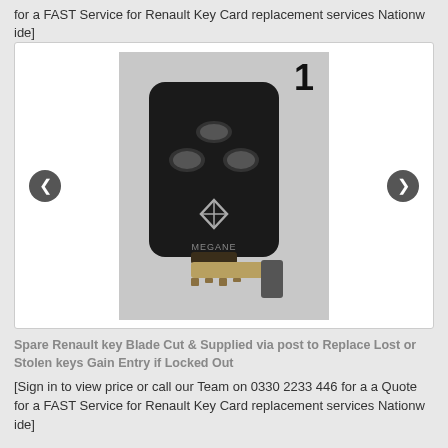for a FAST Service for Renault Key Card replacement services Nationwide]
[Figure (photo): Renault key card with blade extended, showing 3 buttons and Renault diamond logo, numbered '1' in top right corner. Navigation arrows on left and right sides.]
Spare Renault key Blade Cut & Supplied via post to Replace Lost or Stolen keys Gain Entry if Locked Out
[Sign in to view price or call our Team on 0330 2233 446 for a a Quote for a FAST Service for Renault Key Card replacement services Nationwide]